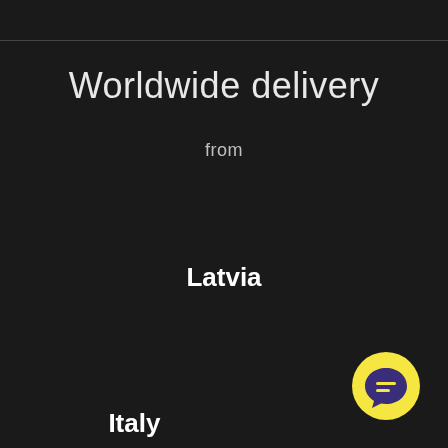Worldwide delivery
from
Latvia
Italy
[Figure (illustration): Yellow circular chat/message button icon with speech bubble symbol in dark purple/navy, positioned bottom-right corner]